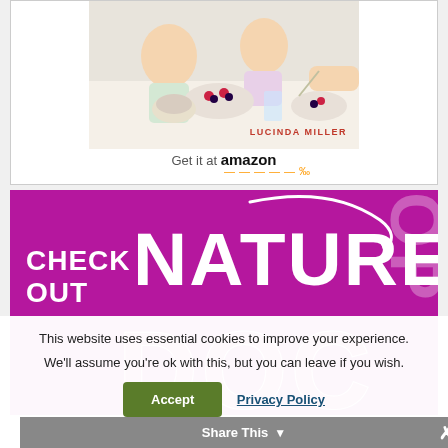[Figure (photo): Book cover/advertisement showing children eating at a table with food. Author name 'LUCINDA MILLER' in red text. 'Get it at amazon' call to action below with Amazon arrow logo.]
[Figure (infographic): Magenta/pink banner with white bold text reading 'CHECK OUT NATURE DOC HOP'. Large white 'NATURE' text, pink 'DOC' text, and 'HOP' text on the right side. White swish arrow decoration.]
This website uses essential cookies to improve your experience.
We'll assume you're ok with this, but you can leave if you wish.
Accept   Privacy Policy
Share This  ×